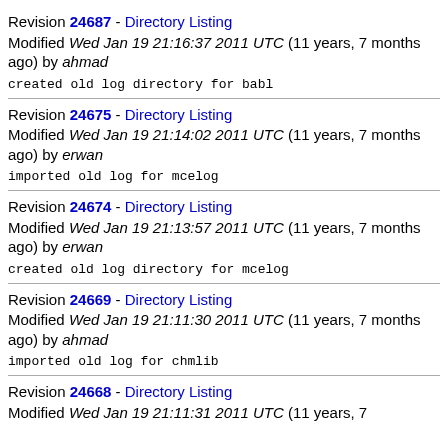Revision 24687 - Directory Listing
Modified Wed Jan 19 21:16:37 2011 UTC (11 years, 7 months ago) by ahmad

created old log directory for babl
Revision 24675 - Directory Listing
Modified Wed Jan 19 21:14:02 2011 UTC (11 years, 7 months ago) by erwan

imported old log for mcelog
Revision 24674 - Directory Listing
Modified Wed Jan 19 21:13:57 2011 UTC (11 years, 7 months ago) by erwan

created old log directory for mcelog
Revision 24669 - Directory Listing
Modified Wed Jan 19 21:11:30 2011 UTC (11 years, 7 months ago) by ahmad

imported old log for chmlib
Revision 24668 - Directory Listing
Modified Wed Jan 19 21:11:31 2011 UTC (11 years, 7 months ago)